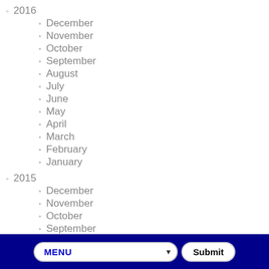2016
December
November
October
September
August
July
June
May
April
March
February
January
2015
December
November
October
September
August
July
June
May
April
March
February
MENU Submit